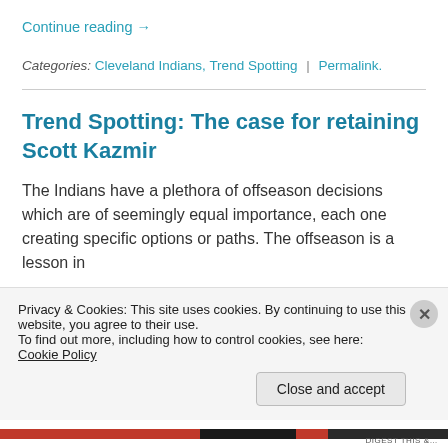Continue reading →
Categories: Cleveland Indians, Trend Spotting | Permalink.
Trend Spotting: The case for retaining Scott Kazmir
The Indians have a plethora of offseason decisions which are of seemingly equal importance, each one creating specific options or paths. The offseason is a lesson in…
Privacy & Cookies: This site uses cookies. By continuing to use this website, you agree to their use.
To find out more, including how to control cookies, see here: Cookie Policy